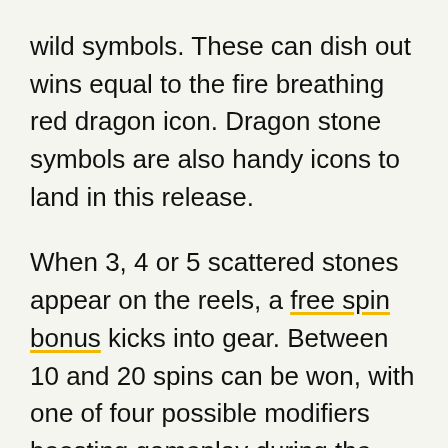wild symbols. These can dish out wins equal to the fire breathing red dragon icon. Dragon stone symbols are also handy icons to land in this release.
When 3, 4 or 5 scattered stones appear on the reels, a free spin bonus kicks into gear. Between 10 and 20 spins can be won, with one of four possible modifiers boosting gameplay during the feature. A Flaming Wilds bonus can turn random symbols into wilds. At the same time, an Ice Storm bonus triggers a streak feature. Every winning symbol or wild which joins a winning combo